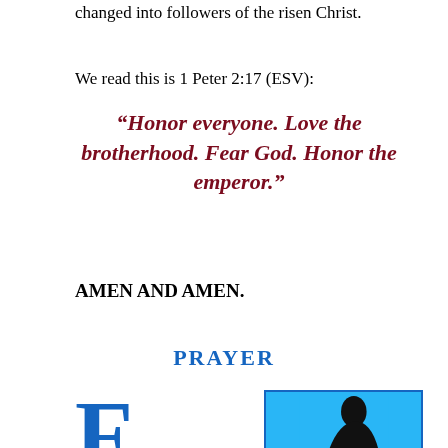changed into followers of the risen Christ.
We read this is 1 Peter 2:17 (ESV):
“Honor everyone. Love the brotherhood. Fear God. Honor the emperor.”
AMEN AND AMEN.
PRAYER
F ATHE